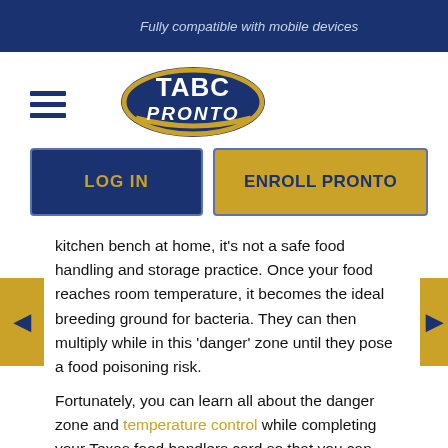Fully compatible with mobile devices
[Figure (logo): TABC Pronto logo with hamburger menu icon]
LOG IN
ENROLL PRONTO
kitchen bench at home, it's not a safe food handling and storage practice. Once your food reaches room temperature, it becomes the ideal breeding ground for bacteria. They can then multiply while in this 'danger' zone until they pose a food poisoning risk.
Fortunately, you can learn all about the danger zone and temperature control while completing your Texas food handlers card so that you can make informed decisions.